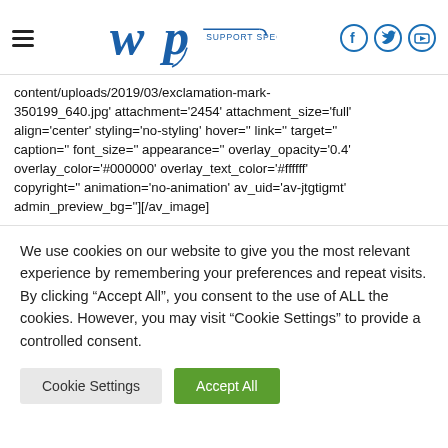WP Support Specialists — navigation header with logo and social icons
content/uploads/2019/03/exclamation-mark-350199_640.jpg' attachment='2454' attachment_size='full' align='center' styling='no-styling' hover='' link='' target='' caption='' font_size='' appearance='' overlay_opacity='0.4' overlay_color='#000000' overlay_text_color='#ffffff' copyright='' animation='no-animation' av_uid='av-jtgtigmt' admin_preview_bg=''][/av_image]
We use cookies on our website to give you the most relevant experience by remembering your preferences and repeat visits. By clicking “Accept All”, you consent to the use of ALL the cookies. However, you may visit "Cookie Settings" to provide a controlled consent.
Cookie Settings | Accept All